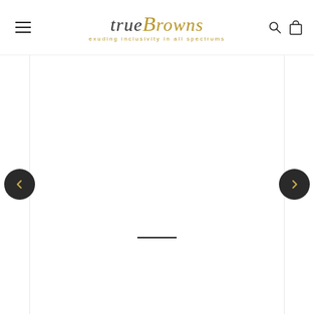trueBrowns — exuding Inclusivity in all spectrums
[Figure (screenshot): Product image carousel area showing a white/blank product image with navigation arrows on left and right sides and a progress indicator bar at the bottom]